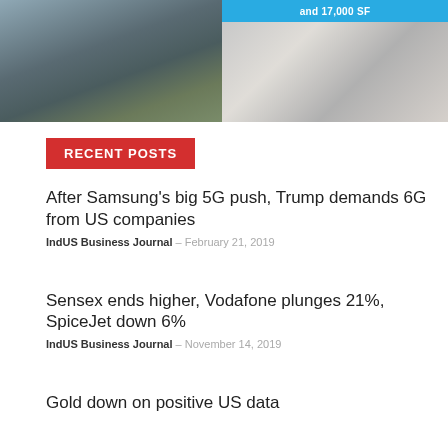[Figure (photo): Left: exterior photo of a modern office building with large glass windows reflecting sky and clouds. Right top: cyan/blue banner text 'and 17,000 SF'. Right bottom: interior photo of an office space with cubicle dividers.]
RECENT POSTS
After Samsung's big 5G push, Trump demands 6G from US companies
IndUS Business Journal – February 21, 2019
Sensex ends higher, Vodafone plunges 21%, SpiceJet down 6%
IndUS Business Journal – November 14, 2019
Gold down on positive US data